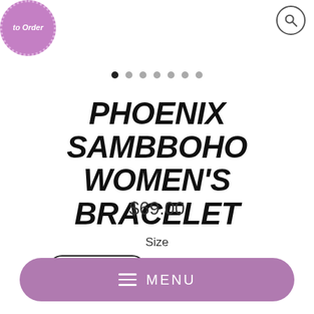[Figure (logo): Purple circular badge with dotted border and italic text 'to Order']
[Figure (other): Search magnifying glass icon in top right corner]
[Figure (other): Pagination dots row with first dot active (dark) and six lighter dots]
PHOENIX SAMBBOHO WOMEN'S BRACELET
$69.00
Size
Women's S/M
Women's L/XL
MENU